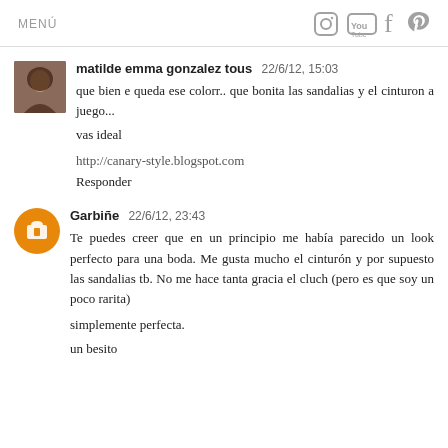MENÚ
matilde emma gonzalez tous  22/6/12, 15:03
que bien e queda ese colorr.. que bonita las sandalias y el cinturon a juego...
vas ideal

http://canary-style.blogspot.com
Responder
Garbiñe  22/6/12, 23:43
Te puedes creer que en un principio me había parecido un look perfecto para una boda. Me gusta mucho el cinturón y por supuesto las sandalias tb. No me hace tanta gracia el cluch (pero es que soy un poco rarita)

simplemente perfecta.

un besito